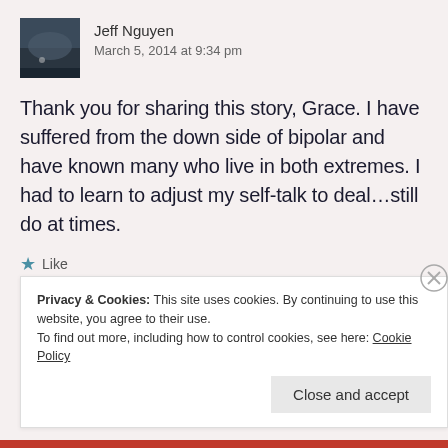[Figure (photo): Avatar photo of Jeff Nguyen — dark landscape/architectural image]
Jeff Nguyen
March 5, 2014 at 9:34 pm
Thank you for sharing this story, Grace. I have suffered from the down side of bipolar and have known many who live in both extremes. I had to learn to adjust my self-talk to deal…still do at times.
★ Like
Log in to Reply
Privacy & Cookies: This site uses cookies. By continuing to use this website, you agree to their use.
To find out more, including how to control cookies, see here: Cookie Policy
Close and accept